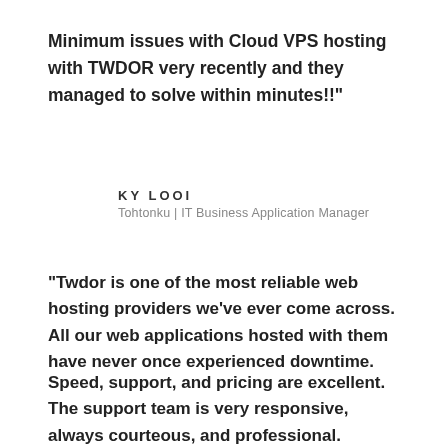Minimum issues with Cloud VPS hosting with TWDOR very recently and they managed to solve within minutes!!"
KY LOOI
Tohtonku | IT Business Application Manager
"Twdor is one of the most reliable web hosting providers we've ever come across. All our web applications hosted with them have never once experienced downtime.
Speed, support, and pricing are excellent. The support team is very responsive, always courteous, and professional. Recommended!"